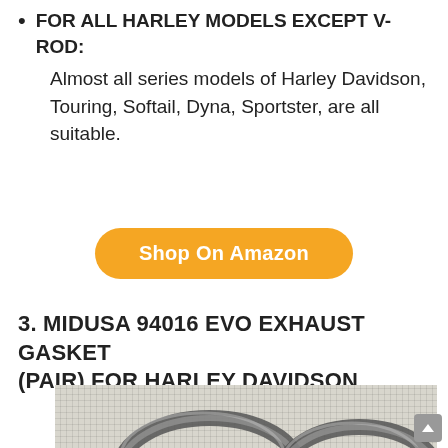FOR ALL HARLEY MODELS EXCEPT V-ROD: Almost all series models of Harley Davidson, Touring, Softail, Dyna, Sportster, are all suitable.
[Figure (other): Orange rounded button labeled 'Shop On Amazon']
3. MIDUSA 94016 EVO EXHAUST GASKET (PAIR) FOR HARLEY DAVIDSON
[Figure (photo): Photo of two metallic exhaust gasket rings (pair) lying on a white mesh/grid fabric background. The gaskets are round/circular metal rings with textured edges.]